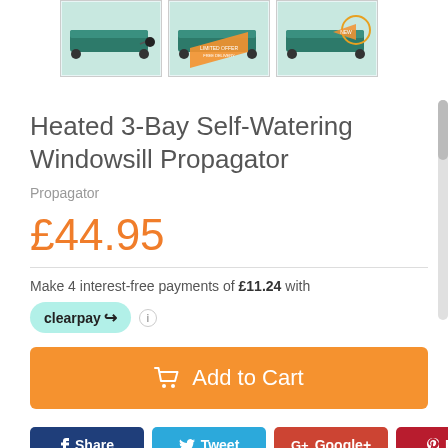[Figure (photo): Three thumbnail images of a Heated 3-Bay Self-Watering Windowsill Propagator product, shown from different angles on a green background. The middle and right images have orange banner overlays.]
Heated 3-Bay Self-Watering Windowsill Propagator
Propagator
£44.95
Make 4 interest-free payments of £11.24 with clearpay
Add to Cart
Share  Tweet  Google+  Pin it